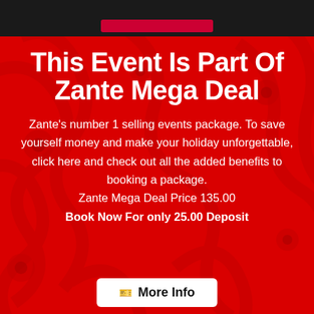This Event Is Part Of Zante Mega Deal
Zante’s number 1 selling events package. To save yourself money and make your holiday unforgettable, click here and check out all the added benefits to booking a package. Zante Mega Deal Price 135.00
Book Now For only 25.00 Deposit